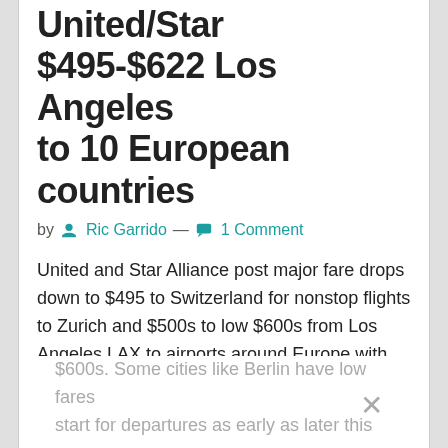United/Star $495-$622 Los Angeles to 10 European countries
by Ric Garrido — 1 Comment
United and Star Alliance post major fare drops down to $495 to Switzerland for nonstop flights to Zurich and $500s to low $600s from Los Angeles LAX to airports around Europe with ticket prices from about Oct 24 to mid-December to Ireland, Portugal, Spain, Italy, France, Switzerland, Germany, Denmark, Belgium and the Netherlands. Greece, Norway and Sweden are upper $600s. Some cities like Berlin have low fares start for departures as early as later this